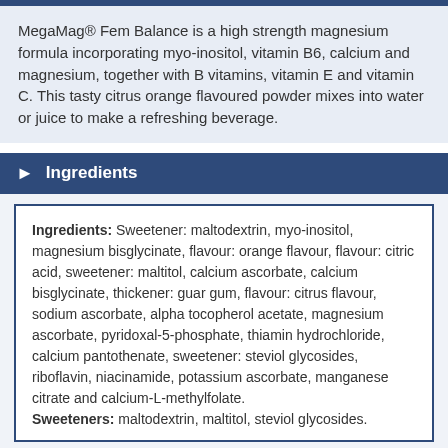MegaMag® Fem Balance is a high strength magnesium formula incorporating myo-inositol, vitamin B6, calcium and magnesium, together with B vitamins, vitamin E and vitamin C. This tasty citrus orange flavoured powder mixes into water or juice to make a refreshing beverage.
Ingredients
Ingredients: Sweetener: maltodextrin, myo-inositol, magnesium bisglycinate, flavour: orange flavour, flavour: citric acid, sweetener: maltitol, calcium ascorbate, calcium bisglycinate, thickener: guar gum, flavour: citrus flavour, sodium ascorbate, alpha tocopherol acetate, magnesium ascorbate, pyridoxal-5-phosphate, thiamin hydrochloride, calcium pantothenate, sweetener: steviol glycosides, riboflavin, niacinamide, potassium ascorbate, manganese citrate and calcium-L-methylfolate.
Sweeteners: maltodextrin, maltitol, steviol glycosides.